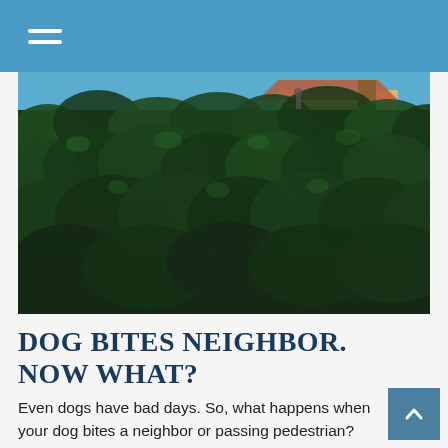[Figure (photo): A tall dense green hedge/shrub wall photographed close up, with a light blue sky and a beige/tan building with a red tile roof partially visible above the hedge in the background.]
DOG BITES NEIGHBOR. NOW WHAT?
Even dogs have bad days. So, what happens when your dog bites a neighbor or passing pedestrian?